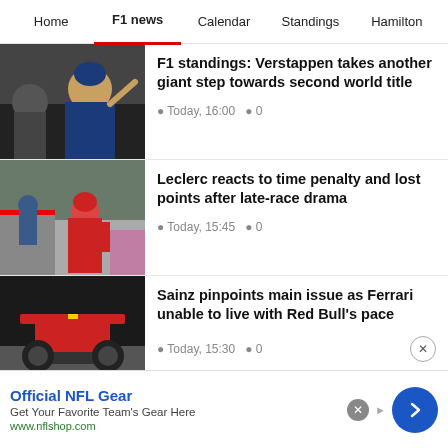Home | F1 news | Calendar | Standings | Hamilton
F1 standings: Verstappen takes another giant step towards second world title — Today, 16:00 · 0
Leclerc reacts to time penalty and lost points after late-race drama — Today, 15:45 · 0
Sainz pinpoints main issue as Ferrari unable to live with Red Bull's pace — Today, 15:30 · 0
Perez amazed by Verstappen's speed: He…
[Figure (photo): Verstappen waving on podium in Red Bull gear]
[Figure (photo): Leclerc in red Ferrari racing suit walking at track]
[Figure (photo): Ferrari F1 car on track from behind]
[Figure (photo): Partial article image (dark, cut off)]
Official NFL Gear — Get Your Favorite Team's Gear Here — www.nflshop.com